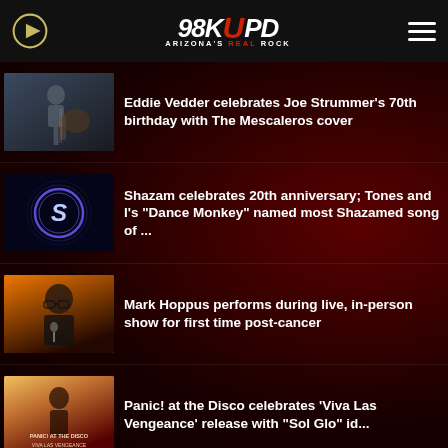98KUPD — Arizona's Real Rock
Eddie Vedder celebrates Joe Strummer's 70th birthday with The Mescaleros cover
Shazam celebrates 20th anniversary; Tones and I's "Dance Monkey" named most Shazamed song of ...
Mark Hoppus performs during live, in-person show for first time post-cancer
Panic! at the Disco celebrates 'Viva Las Vengeance' release with "Sol Glo" id...